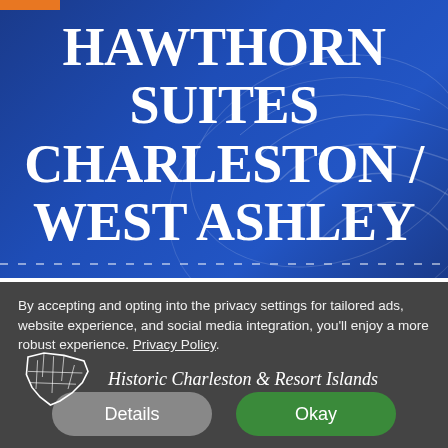[Figure (screenshot): Blue hotel header with South Carolina state outline icon]
HAWTHORN SUITES CHARLESTON / WEST ASHLEY
Historic Charleston & Resort Islands
By accepting and opting into the privacy settings for tailored ads, website experience, and social media integration, you'll enjoy a more robust experience. Privacy Policy
Details
Okay